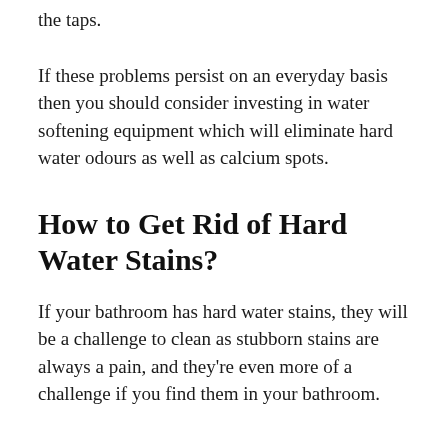the taps.
If these problems persist on an everyday basis then you should consider investing in water softening equipment which will eliminate hard water odours as well as calcium spots.
How to Get Rid of Hard Water Stains?
If your bathroom has hard water stains, they will be a challenge to clean as stubborn stains are always a pain, and they're even more of a challenge if you find them in your bathroom.